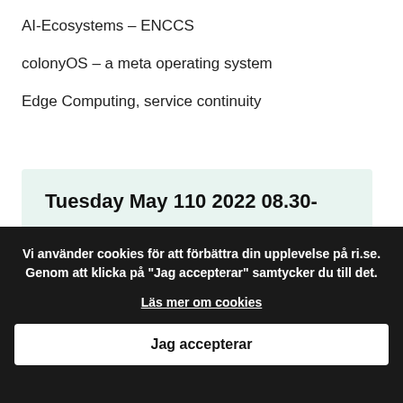AI-Ecosystems – ENCCS
colonyOS – a meta operating system
Edge Computing, service continuity
Tuesday May 110 2022 08.30-
Vi använder cookies för att förbättra din upplevelse på ri.se. Genom att klicka på "Jag accepterar" samtycker du till det.
Läs mer om cookies
Jag accepterar